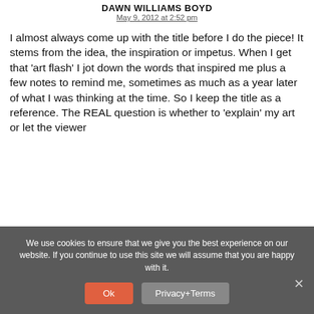DAWN WILLIAMS BOYD
May 9, 2012 at 2:52 pm
I almost always come up with the title before I do the piece! It stems from the idea, the inspiration or impetus. When I get that 'art flash' I jot down the words that inspired me plus a few notes to remind me, sometimes as much as a year later of what I was thinking at the time. So I keep the title as a reference. The REAL question is whether to 'explain' my art or let the viewer
We use cookies to ensure that we give you the best experience on our website. If you continue to use this site we will assume that you are happy with it.